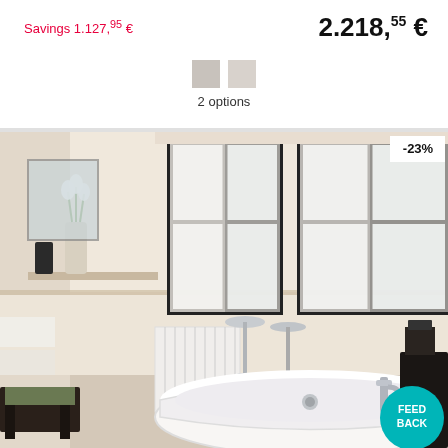Savings 1.127,95 €
2.218,55 €
2 options
[Figure (photo): Elegant bathroom interior with freestanding white bathtub, large windows with white sheer curtains, cream/beige walls and tiles, decorative vase with white flowers, silver candleholders, dark wood furniture, discount badge showing -23%, and a teal Feedback button in the bottom right corner.]
-23%
FEED BACK